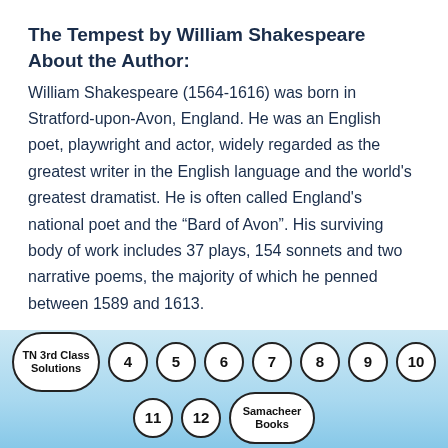The Tempest by William Shakespeare
About the Author:
William Shakespeare (1564-1616) was born in Stratford-upon-Avon, England. He was an English poet, playwright and actor, widely regarded as the greatest writer in the English language and the world’s greatest dramatist. He is often called England’s national poet and the “Bard of Avon”. His surviving body of work includes 37 plays, 154 sonnets and two narrative poems, the majority of which he penned between 1589 and 1613.
TN 3rd Class Solutions | 4 | 5 | 6 | 7 | 8 | 9 | 10 | 11 | 12 | Samacheer Books